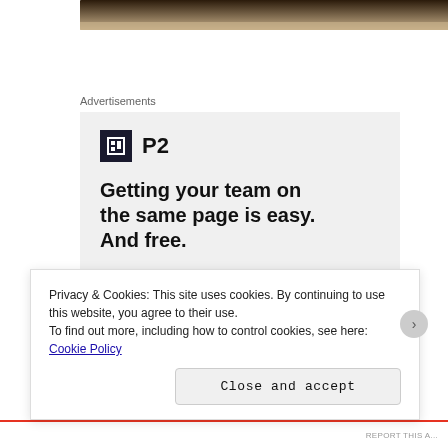[Figure (photo): Top portion of a photo/banner image, partially cropped, appears dark/brown tones at top of page]
Advertisements
[Figure (infographic): P2 advertisement: logo with dark square icon and 'P2' text. Headline: 'Getting your team on the same page is easy. And free.' Below are circular avatar photos and a blue circle with plus icon.]
Privacy & Cookies: This site uses cookies. By continuing to use this website, you agree to their use.
To find out more, including how to control cookies, see here: Cookie Policy
Close and accept